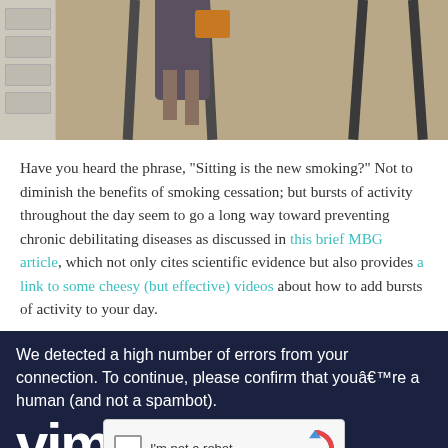[Figure (photo): Photo of a person on a ladder or elevated furniture, with drawer unit visible on left side]
Have you heard the phrase, "Sitting is the new smoking?" Not to diminish the benefits of smoking cessation; but bursts of activity throughout the day seem to go a long way toward preventing chronic debilitating diseases as discussed in this brief MBG article, which not only cites scientific evidence but also provides a link to some cheesy (but effective) videos about how to add bursts of activity to your day.
[Figure (screenshot): CAPTCHA overlay on dark navy background with Vimeo logo and reCAPTCHA widget. Text reads: We detected a high number of errors from your connection. To continue, please confirm that youâ€™re a human (and not a spambot). Shows reCAPTCHA checkbox with 'I'm not a robot' label and reCAPTCHA branding.]